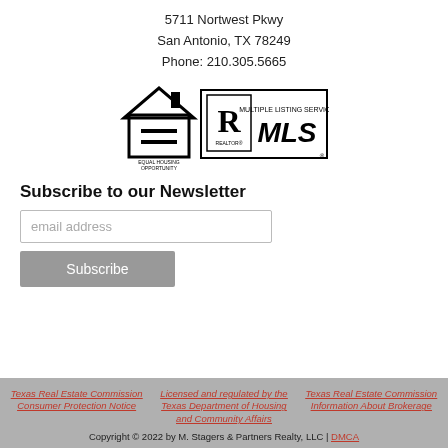5711 Nortwest Pkwy
San Antonio, TX 78249
Phone: 210.305.5665
[Figure (logo): Equal Housing Opportunity logo and Realtor MLS logo]
Subscribe to our Newsletter
email address
Subscribe
Texas Real Estate Commission Consumer Protection Notice
Licensed and regulated by the Texas Department of Housing and Community Affairs
Texas Real Estate Commission Information About Brokerage
Copyright © 2022 by M. Stagers & Partners Realty, LLC | DMCA